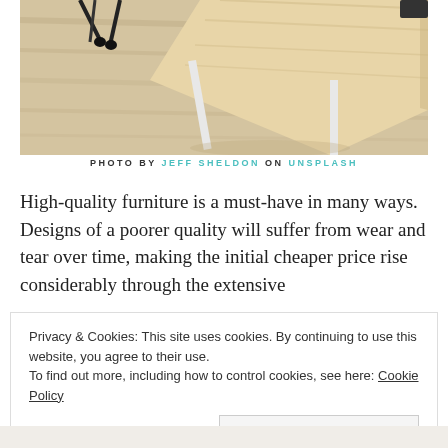[Figure (photo): Close-up photo of a light wood desk surface with white metal legs and a chair with wheels on a light wood floor, viewed from above at an angle.]
PHOTO BY JEFF SHELDON ON UNSPLASH
High-quality furniture is a must-have in many ways. Designs of a poorer quality will suffer from wear and tear over time, making the initial cheaper price rise considerably through the extensive need to seek replacements.
Privacy & Cookies: This site uses cookies. By continuing to use this website, you agree to their use.
To find out more, including how to control cookies, see here: Cookie Policy
Close and accept